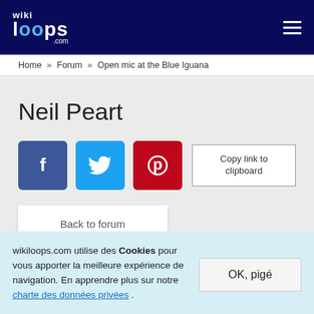wikiloops.com
Home » Forum » Open mic at the Blue Iguana
Neil Peart
[Figure (infographic): Social share buttons: Facebook (blue), Twitter (cyan), Pinterest (red), and a Copy link to clipboard button]
Back to forum
wikiloops.com utilise des Cookies pour vous apporter la meilleure expérience de navigation. En apprendre plus sur notre charte des données privées .